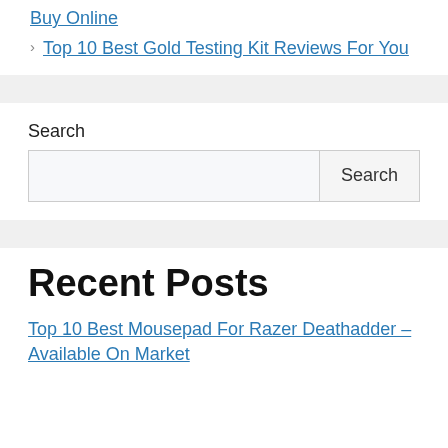Buy Online
Top 10 Best Gold Testing Kit Reviews For You
Search
Recent Posts
Top 10 Best Mousepad For Razer Deathadder – Available On Market